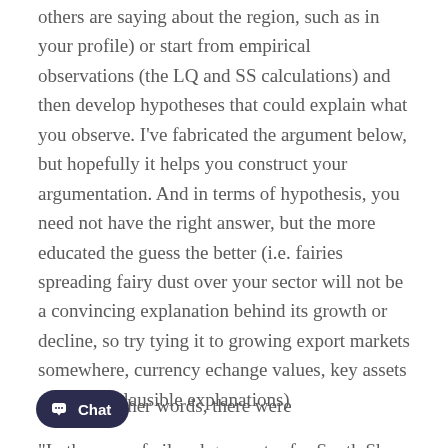others are saying about the region, such as in your profile) or start from empirical observations (the LQ and SS calculations) and then develop hypotheses that could explain what you observe. I've fabricated the argument below, but hopefully it helps you construct your argumentation. And in terms of hypothesis, you need not have the right answer, but the more educated the guess the better (i.e. fairies spreading fairy dust over your sector will not be a convincing explanation behind its growth or decline, so try tying it to growing export markets somewhere, currency echange values, key assets and other plausible explanations)
“In the case of oil and gas sector for South Shore Nova Scotia, the regional shift shows a negative … -2056. In other words, there were